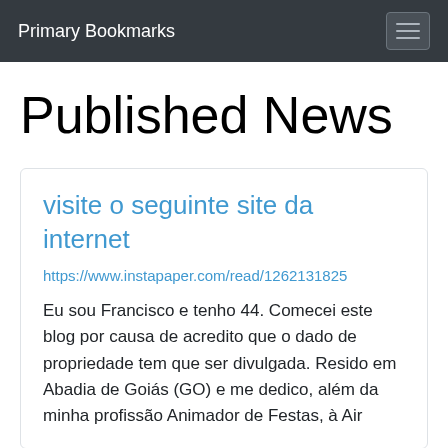Primary Bookmarks
Published News
visite o seguinte site da internet
https://www.instapaper.com/read/1262131825
Eu sou Francisco e tenho 44. Comecei este blog por causa de acredito que o dado de propriedade tem que ser divulgada. Resido em Abadia de Goiás (GO) e me dedico, além da minha profissão Animador de Festas, à Air